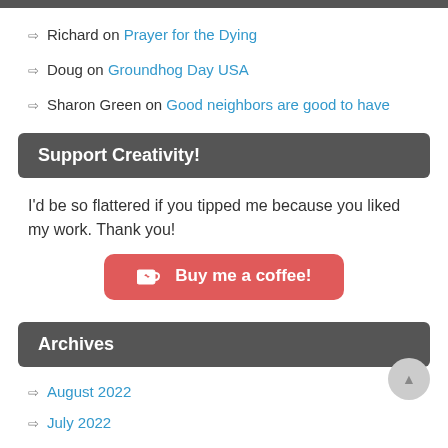Richard on Prayer for the Dying
Doug on Groundhog Day USA
Sharon Green on Good neighbors are good to have
Support Creativity!
I'd be so flattered if you tipped me because you liked my work. Thank you!
[Figure (other): Buy me a coffee button - red rounded rectangle with coffee cup icon]
Archives
August 2022
July 2022